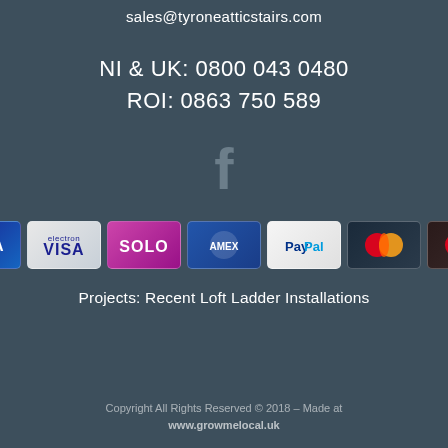sales@tyroneatticstairs.com
NI & UK: 0800 043 0480
ROI: 0863 750 589
[Figure (logo): Facebook 'f' logo icon in muted grey]
[Figure (infographic): Row of 7 payment method icons: VISA (blue), VISA (electron), SOLO, American Express (blue), PayPal, Mastercard (red/yellow), Mastercard]
Projects: Recent Loft Ladder Installations
Copyright All Rights Reserved © 2018 – Made at www.growmelocal.uk